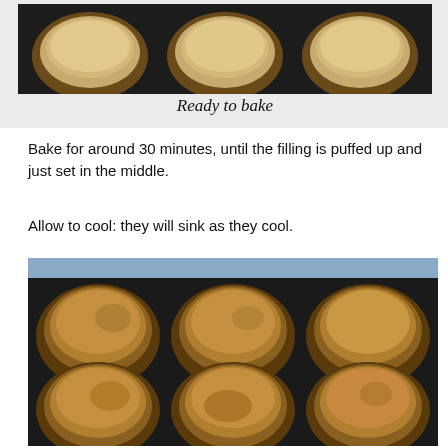[Figure (photo): Six small pastry tarts filled with pale cream/custard filling, arranged in a dark baking tray, ready to bake.]
Ready to bake
Bake for around 30 minutes, until the filling is puffed up and just set in the middle.
Allow to cool: they will sink as they cool.
[Figure (photo): Six baked pastry tarts with golden-brown caramelized filling, arranged in a dark baking tray, after baking.]